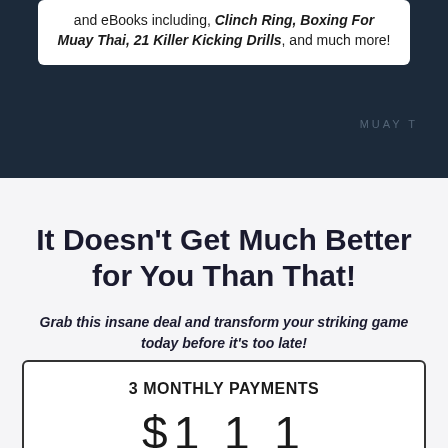[Figure (photo): Dark background section with skull/fighter imagery and a white rounded box containing promotional text about eBooks]
and eBooks including, Clinch Ring, Boxing For Muay Thai, 21 Killer Kicking Drills, and much more!
It Doesn't Get Much Better for You Than That!
Grab this insane deal and transform your striking game today before it's too late!
| 3 MONTHLY PAYMENTS |
| $1 1 1 |